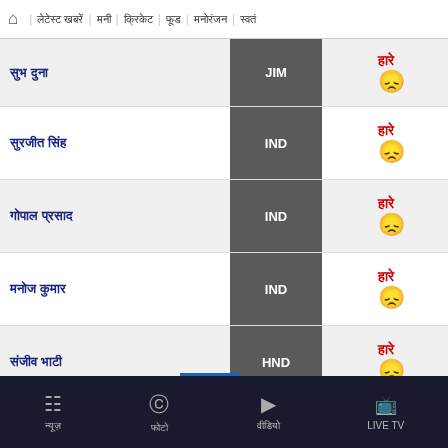🏠 | लेटेस्ट खबरें | मनी | क्रिकेट | फूड | मनोरंजन | स्वतं...
| नाम | देश |  | परिणाम |
| --- | --- | --- | --- |
| सुभ दुना | JIM |  | हारे 😞 |
| सुरजीत सिंह | IND |  | हारे 😞 |
| गोपाल प्रसाद | IND |  | हारे 😞 |
| मनोज कुमार | IND |  | हारे 😞 |
| संजीव भाटी | HND |  | हारे 😞 |
[Figure (other): Moneycontrol PRO advertisement banner: GET MONEYCONTROL PRO AT NET ZERO COST* - *Grab Vouchers Worth Rs. 1500]
न्यूज़ | फोटो | वीडियो | LIVE TV